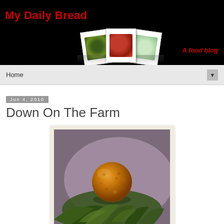My Daily Bread — A food blog
Home
Jun 4, 2010
Down On The Farm
[Figure (photo): A breaded and fried food ball (scotch egg or arancini) resting on green salad leaves, in a polaroid-style photo frame]